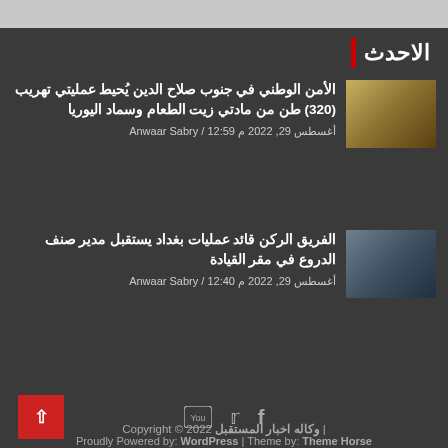[Figure (screenshot): Top gray bar area, partial image visible at top of page]
الاحدث
الأمن الوطني في جنوب صلاح الدين يُحيط عمليتي تهريب (320) طن من مادتي زيت الطعام وسماد اليوريا
أغسطس 29, 2022 م 12:59 / Anwaar Sabry
الفريق الركن قائد عمليات بغداد يستقبل مدير صنف الدروع في مقر القيادة
أغسطس 29, 2022 م 12:40 / Anwaar Sabry
Copyright © 2022 | وكاله اخبار المستقبل
Proudly Powered by: WordPress | Theme by: Theme Horse